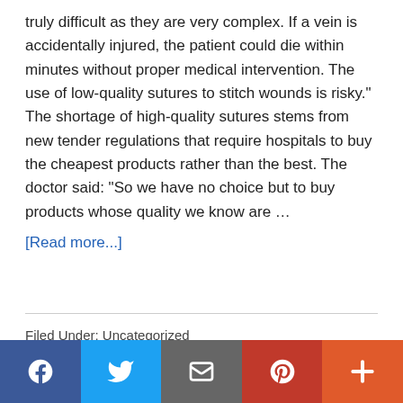truly difficult as they are very complex. If a vein is accidentally injured, the patient could die within minutes without proper medical intervention. The use of low-quality sutures to stitch wounds is risky." The shortage of high-quality sutures stems from new tender regulations that require hospitals to buy the cheapest products rather than the best. The doctor said: "So we have no choice but to buy products whose quality we know are …
[Read more...]
Filed Under: Uncategorized
[Figure (other): Social sharing bar with Facebook, Twitter, Email, Pinterest, and More buttons]